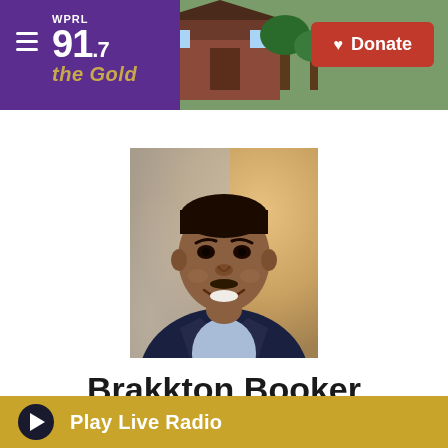WPRL 91.7 the Gold — Donate
[Figure (photo): Professional headshot of Brakkton Booker, a smiling African-American man in a dark blazer and light blue shirt, against a blurred warm background]
Brakkton Booker
Play Live Radio